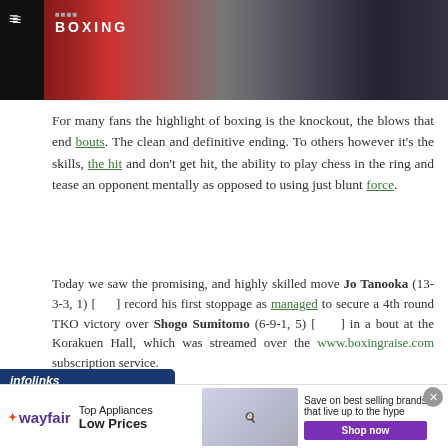[Figure (photo): Boxing match photo showing two boxers, one in red gear, one in blue/black gear. Header image with BOXING logo and hamburger menu icon on dark background.]
For many fans the highlight of boxing is the knockout, the blows that end bouts. The clean and definitive ending. To others however it's the skills, the hit and don't get hit, the ability to play chess in the ring and tease an opponent mentally as opposed to using just blunt force.
Today we saw the promising, and highly skilled move Jo Tanooka (13-3-3, 1) [ ] record his first stoppage as managed to secure a 4th round TKO victory over Shogo Sumitomo (6-9-1, 5) [ ] in a bout at the Korakuen Hall, which was streamed over the www.boxingraise.com subscription service.
[Figure (other): Infolinks and Wayfair advertisement banner. Wayfair Top Appliances Low Prices ad with kitchen appliance image and Shop now button.]